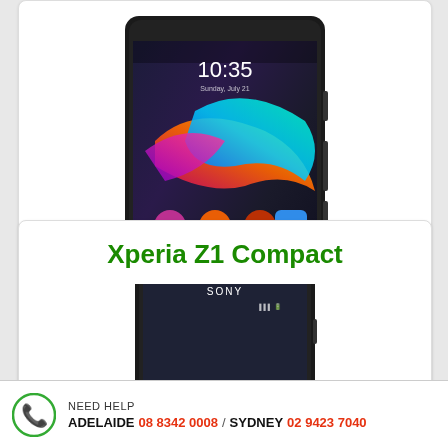[Figure (photo): Sony Xperia smartphone showing home screen with colorful wallpaper, time 10:35, app icons visible]
Learn more
Xperia Z1 Compact
[Figure (photo): Sony Xperia Z1 Compact smartphone, top portion visible showing Sony branding and lock screen with time 10:35]
NEED HELP  ADELAIDE  08 8342 0008 / SYDNEY  02 9423 7040